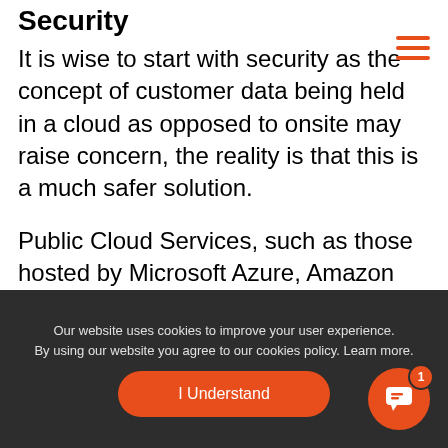Security
It is wise to start with security as the concept of customer data being held in a cloud as opposed to onsite may raise concern, the reality is that this is a much safer solution.
Public Cloud Services, such as those hosted by Microsoft Azure, Amazon Web Services etc. are operated by huge organisations whose full-time focus is delivering secure software applications.
Our website uses cookies to improve your user experience.
By using our website you agree to our cookies policy. Learn more.